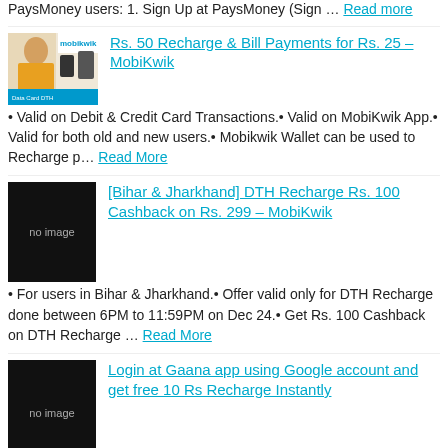PaysMoney users: 1. Sign Up at PaysMoney (Sign … Read More
Rs. 50 Recharge & Bill Payments for Rs. 25 – MobiKwik • Valid on Debit & Credit Card Transactions.• Valid on MobiKwik App.• Valid for both old and new users.• Mobikwik Wallet can be used to Recharge p… Read More
[Bihar & Jharkhand] DTH Recharge Rs. 100 Cashback on Rs. 299 – MobiKwik • For users in Bihar & Jharkhand.• Offer valid only for DTH Recharge done between 6PM to 11:59PM on Dec 24.• Get Rs. 100 Cashback on DTH Recharge … Read More
Login at Gaana app using Google account and get free 10 Rs Recharge Instantly Gaana is one of the best app for Music lovers,get access to the largest collection of Music from Bollywood,English,Hindi and other songs,Gaana app… Read More
Rechargeadda cashback offers get upto 50 Rs cashback and 2 more